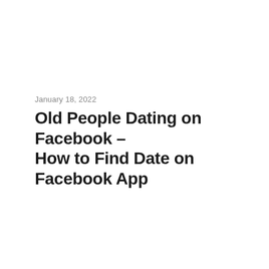January 18, 2022
Old People Dating on Facebook – How to Find Date on Facebook App